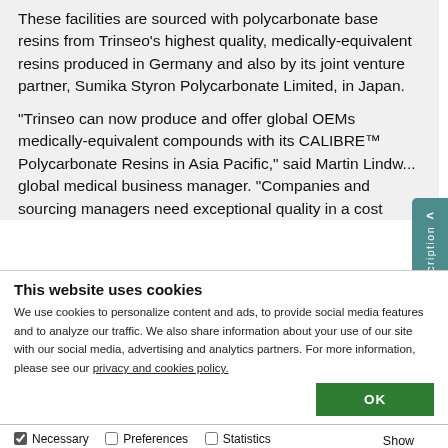These facilities are sourced with polycarbonate base resins from Trinseo's highest quality, medically-equivalent resins produced in Germany and also by its joint venture partner, Sumika Styron Polycarbonate Limited, in Japan.
“Trinseo can now produce and offer global OEMs medically-equivalent compounds with its CALIBRE™ Polycarbonate Resins in Asia Pacific,” said Martin Lindw... global medical business manager. “Companies and sourcing managers need exceptional quality in a cost
This website uses cookies
We use cookies to personalize content and ads, to provide social media features and to analyze our traffic. We also share information about your use of our site with our social media, advertising and analytics partners. For more information, please see our privacy and cookies policy.
OK
Necessary  Preferences  Statistics  Marketing  Show details